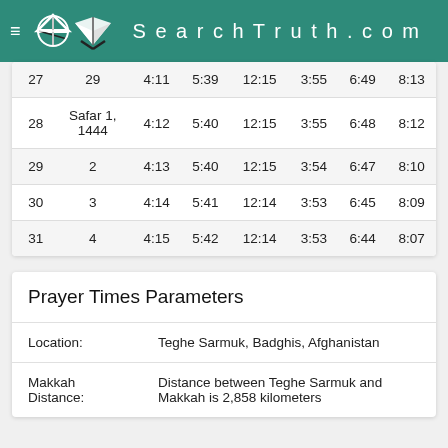SearchTruth.com
| 27 | 29 | 4:11 | 5:39 | 12:15 | 3:55 | 6:49 | 8:13 |
| 28 | Safar 1, 1444 | 4:12 | 5:40 | 12:15 | 3:55 | 6:48 | 8:12 |
| 29 | 2 | 4:13 | 5:40 | 12:15 | 3:54 | 6:47 | 8:10 |
| 30 | 3 | 4:14 | 5:41 | 12:14 | 3:53 | 6:45 | 8:09 |
| 31 | 4 | 4:15 | 5:42 | 12:14 | 3:53 | 6:44 | 8:07 |
Prayer Times Parameters
Location: Teghe Sarmuk, Badghis, Afghanistan
Makkah Distance: Distance between Teghe Sarmuk and Makkah is 2,858 kilometers